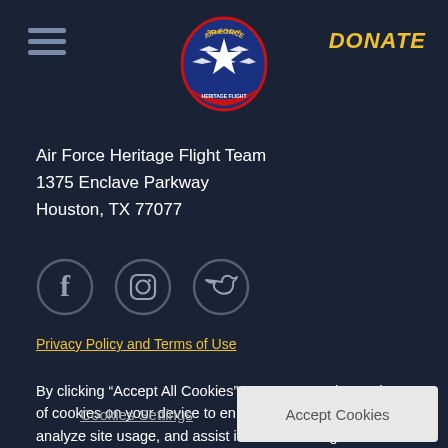[Figure (logo): Air Force Demo Team Heritage Flight shield logo with planes and star]
DONATE
Air Force Heritage Flight Team
1375 Enclave Parkway
Houston, TX 77077
[Figure (illustration): Social media icons: Facebook, Instagram, Twitter in dark circular borders]
Privacy Policy and Terms of Use
By clicking “Accept All Cookies”, you agree to the storing of cookies on your device to enhance site navigation, analyze site usage, and assist in our marketing efforts.
Cookies Settings
Accept Cookies